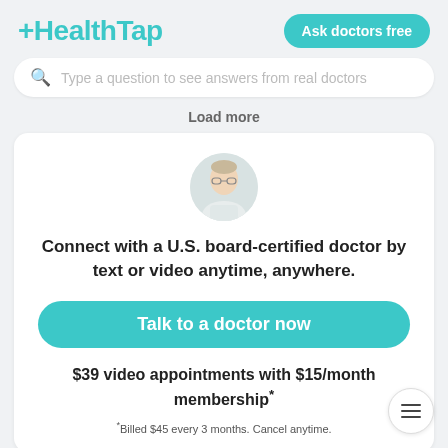[Figure (logo): HealthTap logo with teal color and plus sign]
Ask doctors free
Type a question to see answers from real doctors
Load more
[Figure (photo): Circular doctor profile photo of a man with glasses]
Connect with a U.S. board-certified doctor by text or video anytime, anywhere.
Talk to a doctor now
$39 video appointments with $15/month membership*
*Billed $45 every 3 months. Cancel anytime.